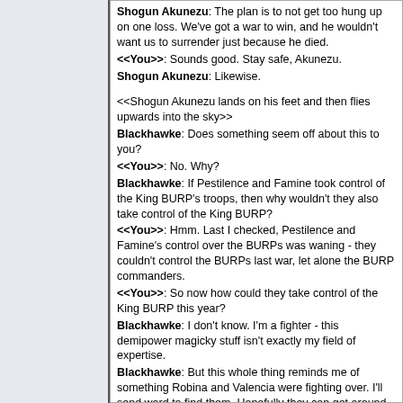Shogun Akunezu: The plan is to not get too hung up on one loss. We've got a war to win, and he wouldn't want us to surrender just because he died.
<<You>>: Sounds good. Stay safe, Akunezu.
Shogun Akunezu: Likewise.

<<Shogun Akunezu lands on his feet and then flies upwards into the sky>>
Blackhawke: Does something seem off about this to you?
<<You>>: No. Why?
Blackhawke: If Pestilence and Famine took control of the King BURP's troops, then why wouldn't they also take control of the King BURP?
<<You>>: Hmm. Last I checked, Pestilence and Famine's control over the BURPs was waning - they couldn't control the BURPs last war, let alone the BURP commanders.
<<You>>: So now how could they take control of the King BURP this year?
Blackhawke: I don't know. I'm a fighter - this demipower magicky stuff isn't exactly my field of expertise.
Blackhawke: But this whole thing reminds me of something Robina and Valencia were fighting over. I'll send word to find them. Hopefully they can get around before something bad happens.

60%

<<Famine on the left stands on a dark ground with an aurora of a gradient of dark blue to green in the sky, ACCESS DENIED flashes on a black silhouette of a sphere with a white outline, three green arrows are shot from the right to left, Famine and another that look Pestilence all